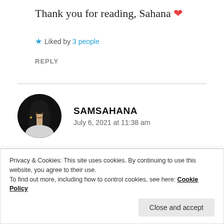Thank you for reading, Sahana ❤
★ Liked by 3 people
REPLY
[Figure (photo): Circular black-and-white profile photo of a young woman with long hair]
SAMSAHANA
July 6, 2021 at 11:38 am
Do post it if you do paint that! 🤩 Would be such a treat!
Privacy & Cookies: This site uses cookies. By continuing to use this website, you agree to their use.
To find out more, including how to control cookies, see here: Cookie Policy
Close and accept